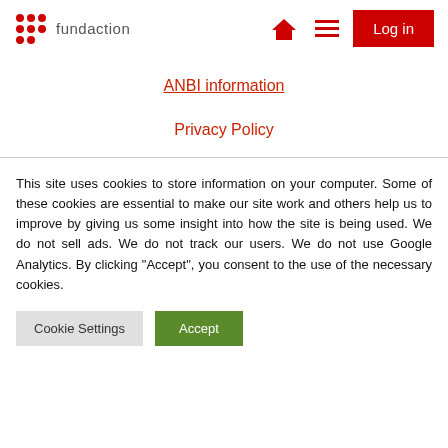fundaction — Log in
ANBI information
Privacy Policy
This site uses cookies to store information on your computer. Some of these cookies are essential to make our site work and others help us to improve by giving us some insight into how the site is being used. We do not sell ads. We do not track our users. We do not use Google Analytics. By clicking “Accept”, you consent to the use of the necessary cookies.